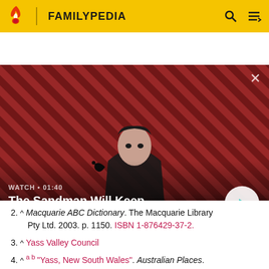FAMILYPEDIA
[Figure (screenshot): Video thumbnail showing a dark-themed promotional image for 'The Sandman Will Keep You Awake - The Loop' with a man in black holding a raven on a red and black striped background. Overlay shows WATCH • 01:40 and play button.]
2. ^ Macquarie ABC Dictionary. The Macquarie Library Pty Ltd. 2003. p. 1150. ISBN 1-876429-37-2.
3. ^ Yass Valley Council
4. ^ a b "Yass, New South Wales". Australian Places. Monash University. Archived from the original on 26